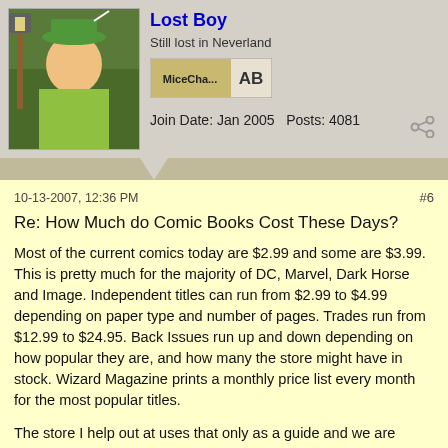Lost Boy
Still lost in Neverland
Join Date: Jan 2005   Posts: 4081
10-13-2007, 12:36 PM
#6
Re: How Much do Comic Books Cost These Days?
Most of the current comics today are $2.99 and some are $3.99. This is pretty much for the majority of DC, Marvel, Dark Horse and Image. Independent titles can run from $2.99 to $4.99 depending on paper type and number of pages. Trades run from $12.99 to $24.95. Back Issues run up and down depending on how popular they are, and how many the store might have in stock. Wizard Magazine prints a monthly price list every month for the most popular titles.
The store I help out at uses that only as a guide and we are below the so called "List Value" of back issues as there is simply no such thing as a "Mint" condition comic in the back issues and even in the brand new comics. Once they leave the printing machine and are handled by people for packing and shipping to Diamond Distributors they are no longer "Mint". And by the time Diamond gets through mashing them into the boxes for shipping to your local dealer you are lucky if any show up in decent shape. The whole grading and price system for comics these days is a